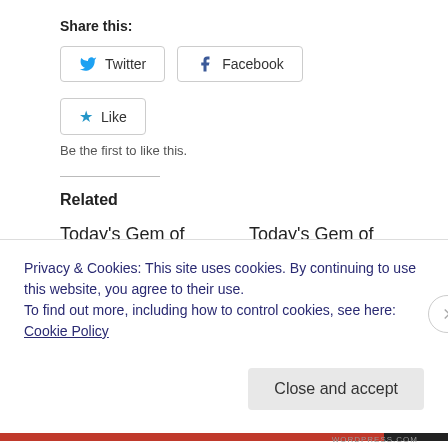Share this:
Twitter
Facebook
Like
Be the first to like this.
Related
Today's Gem of Gratitude #237
February 5, 2014
In "Gems of Gratitude"
Today's Gem of Gratitude #10
June 23, 2013
In "Gems of Gratitude"
Privacy & Cookies: This site uses cookies. By continuing to use this website, you agree to their use.
To find out more, including how to control cookies, see here: Cookie Policy
Close and accept